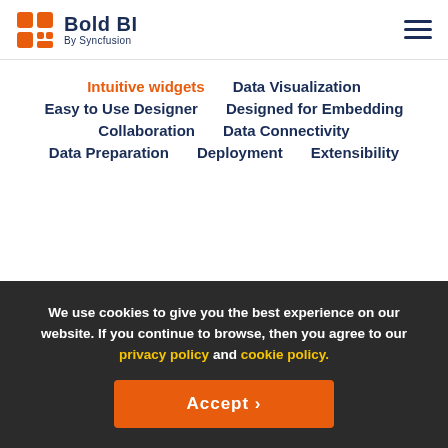Bold BI By Syncfusion
Intuitive widgets
Data Visualization
Easy to Use Designer
Designed for Embedding
Collaboration
Data Connectivity
Data Preparation
Deployment
Extensibility
Manageability
Predictive Analytics
We use cookies to give you the best experience on our website. If you continue to browse, then you agree to our privacy policy and cookie policy.
Accept